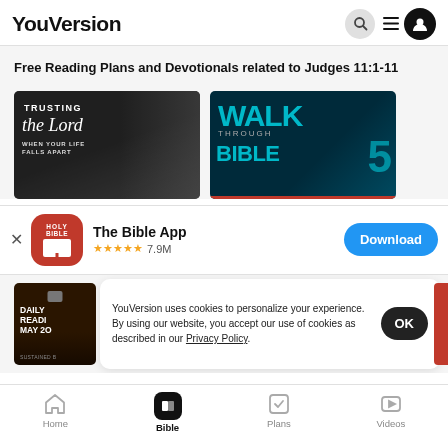YouVersion
Free Reading Plans and Devotionals related to Judges 11:1-11
[Figure (screenshot): Thumbnail for 'Trusting the Lord When Your Life Falls Apart' reading plan]
[Figure (screenshot): Thumbnail for 'Walk Through the Bible' reading plan]
[Figure (screenshot): The Bible App icon - red with Holy Bible text]
The Bible App ★★★★★ 7.9M
Download
[Figure (screenshot): Daily Reading May thumbnail]
YouVersion uses cookies to personalize your experience. By using our website, you accept our use of cookies as described in our Privacy Policy.
OK
Home  Bible  Plans  Videos